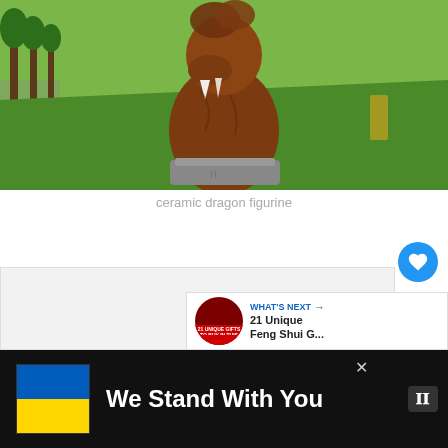[Figure (photo): A large dragon sculpture on a stone pedestal in a green grassy park with a row of trees along a path in the background]
ceramic dragon figurine
[Figure (screenshot): Gray content area below the caption with a heart/like button showing 13 likes, a share button, and a 'WHAT'S NEXT' card showing '21 Unique Feng Shui G...']
[Figure (infographic): Advertisement banner: Ukrainian flag (blue and yellow), text 'We Stand With You', close X button, and W logo on black background]